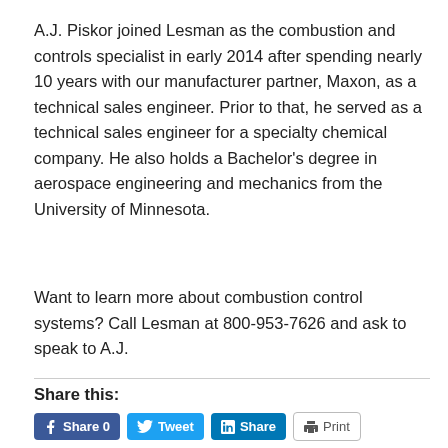A.J. Piskor joined Lesman as the combustion and controls specialist in early 2014 after spending nearly 10 years with our manufacturer partner, Maxon, as a technical sales engineer. Prior to that, he served as a technical sales engineer for a specialty chemical company. He also holds a Bachelor's degree in aerospace engineering and mechanics from the University of Minnesota.
Want to learn more about combustion control systems? Call Lesman at 800-953-7626 and ask to speak to A.J.
Share this: